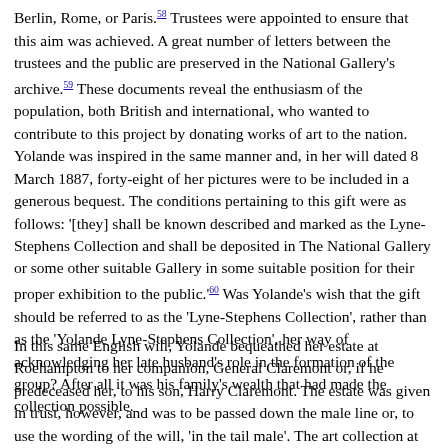Berlin, Rome, or Paris.[58] Trustees were appointed to ensure that this aim was achieved. A great number of letters between the trustees and the public are preserved in the National Gallery's archive.[59] These documents reveal the enthusiasm of the population, both British and international, who wanted to contribute to this project by donating works of art to the nation. Yolande was inspired in the same manner and, in her will dated 8 March 1887, forty-eight of her pictures were to be included in a generous bequest. The conditions pertaining to this gift were as follows: '[they] shall be known described and marked as the Lyne-Stephens Collection and shall be deposited in The National Gallery or some other suitable Gallery in some suitable position for their proper exhibition to the public.'[60] Was Yolande's wish that the gift should be referred to as the 'Lyne-Stephens Collection', rather than as the 'Yolande Lyne-Stephens Collection', her way of acknowledging her late husband's role in the formation of the group? After all it was his family's wealth that had made the collection possible.
In this same English will, Yolande bequeathed her estate at Roehampton to her companion, General Claremont or, if he predeceased her, to his son, Harry Claremont. The estate was given in trust, however, and was to be passed down the male line or, to use the wording of the will, 'in the tail male'. The art collection at that house was included in the estate and was this, a portrait by...